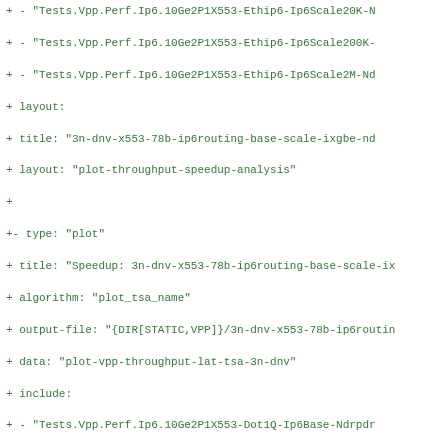Diff/code listing showing YAML configuration additions for VPP performance test plots